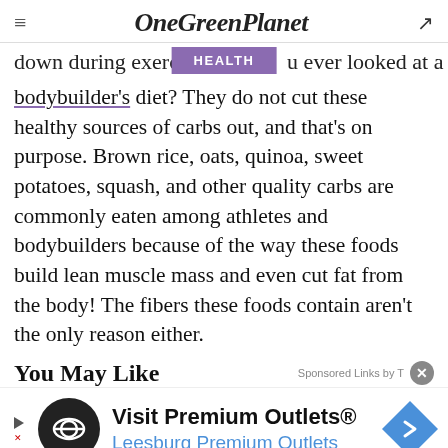OneGreenPlanet
down during exercise... ever looked at a bodybuilder's diet? They do not cut these healthy sources of carbs out, and that's on purpose. Brown rice, oats, quinoa, sweet potatoes, squash, and other quality carbs are commonly eaten among athletes and bodybuilders because of the way these foods build lean muscle mass and even cut fat from the body! The fibers these foods contain aren't the only reason either.
You May Like
[Figure (screenshot): Advertisement banner for Visit Premium Outlets® - Leesburg Premium Outlets with logo and arrow icon]